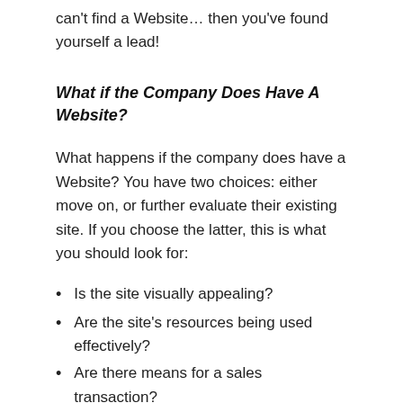can't find a Website… then you've found yourself a lead!
What if the Company Does Have A Website?
What happens if the company does have a Website? You have two choices: either move on, or further evaluate their existing site. If you choose the latter, this is what you should look for:
Is the site visually appealing?
Are the site's resources being used effectively?
Are there means for a sales transaction?
Does the site have a domain name?
Is it listed in a web directory?